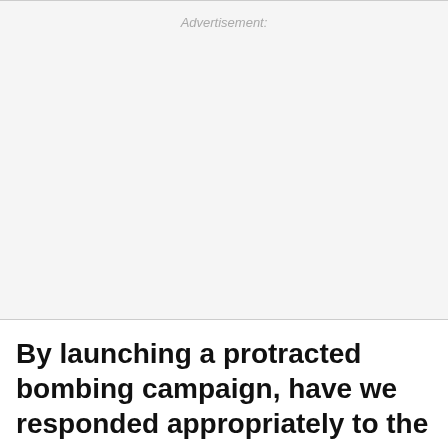Advertisement:
By launching a protracted bombing campaign, have we responded appropriately to the Sept. 11 attacks?